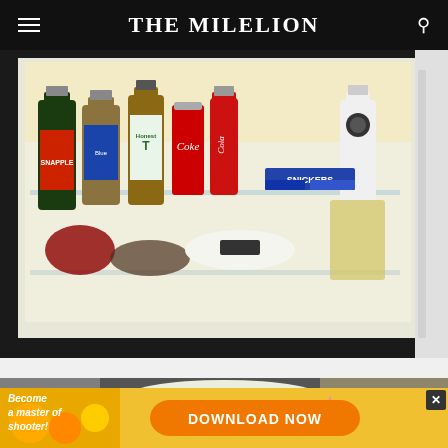THE MILELION
[Figure (photo): Open mini-bar fridge showing bottles and cans of beverages including Snapple, Coke, Honest Tea, and Snickers bars on a glass shelf inside a hotel room.]
[Figure (photo): Partial view of another hotel room item, possibly a TV or surface, with bright light reflection. A close/X button is visible on the left side.]
[Figure (photo): Advertisement banner showing 'Become a master of shooter! DOWNLOAD NOW' in orange button on yellow/golden background with game imagery and a star character.]